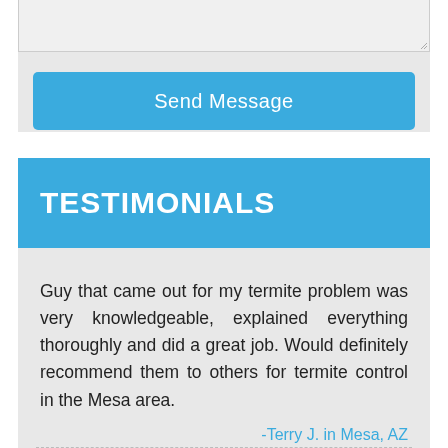[Figure (screenshot): Partial view of a web form textarea with a resize handle in the bottom-right corner]
Send Message
TESTIMONIALS
Guy that came out for my termite problem was very knowledgeable, explained everything thoroughly and did a great job. Would definitely recommend them to others for termite control in the Mesa area.
-Terry J. in Mesa, AZ